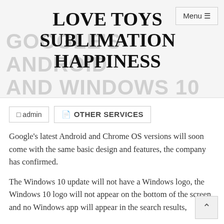LOVE TOYS SUBLIMATION HAPPINESS
LOVE TOYS
SUBLIMATION
HAPPINESS
GOOGLE'S ANDROID AND WINDOWS 10 WILL DO/WILL THE SAME THING
admin
OTHER SERVICES
Google's latest Android and Chrome OS versions will soon come with the same basic design and features, the company has confirmed.
The Windows 10 update will not have a Windows logo, the Windows 10 logo will not appear on the bottom of the screen, and no Windows app will appear in the search results,